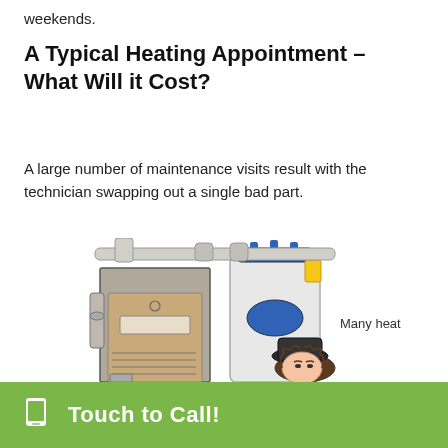weekends.
A Typical Heating Appointment – What Will it Cost?
A large number of maintenance visits result with the technician swapping out a single bad part.
[Figure (illustration): Cartoon illustration of a heating furnace unit with pipes and a technician wearing a cap peeking from behind the equipment. Text 'Many heat' appears to the right.]
Touch to Call!